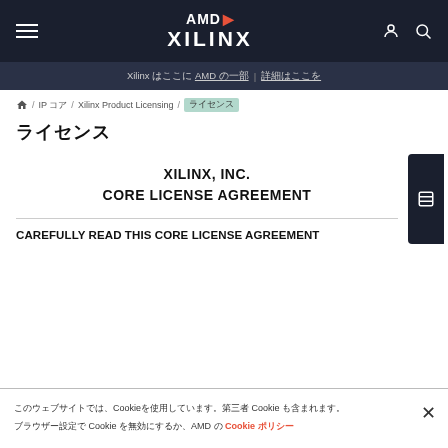AMD XILINX navigation header
Xilinx [CJK] AMD [CJK] | [CJK]
Home / IP [CJK] / Xilinx Product Licensing / [CJK]
[CJK page title]
XILINX, INC.
CORE LICENSE AGREEMENT
CAREFULLY READ THIS CORE LICENSE AGREEMENT
[CJK] Cookie [CJK] Cookie [CJK] Cookie [CJK] AMD [CJK] Cookie [CJK]